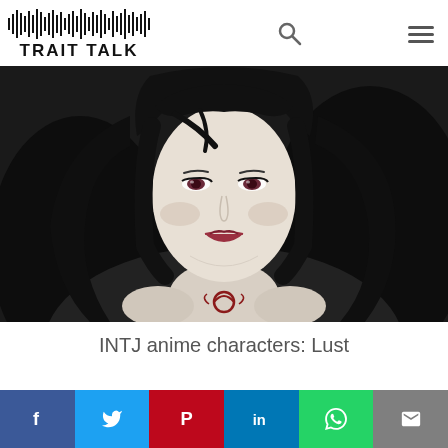TRAIT TALK
[Figure (illustration): Anime character 'Lust' from Fullmetal Alchemist — a pale-skinned woman with long black hair, purple/red eyes, a slight smirk, and a red Ouroboros tattoo on her chest, depicted against a dark background.]
INTJ anime characters: Lust
Social share buttons: Facebook, Twitter, Pinterest, LinkedIn, WhatsApp, Email